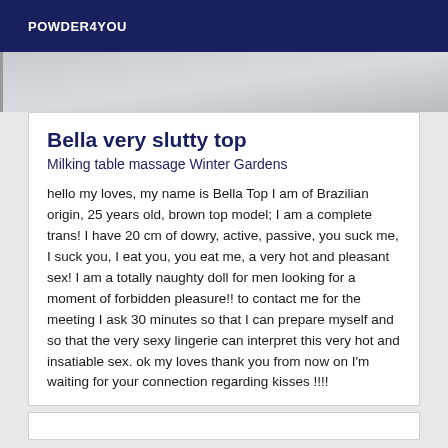POWDER4YOU
[Figure (photo): Partial photo strip showing light-colored fabric or surface, cropped at top]
Bella very slutty top
Milking table massage Winter Gardens
hello my loves, my name is Bella Top I am of Brazilian origin, 25 years old, brown top model; I am a complete trans! I have 20 cm of dowry, active, passive, you suck me, I suck you, I eat you, you eat me, a very hot and pleasant sex! I am a totally naughty doll for men looking for a moment of forbidden pleasure!! to contact me for the meeting I ask 30 minutes so that I can prepare myself and so that the very sexy lingerie can interpret this very hot and insatiable sex. ok my loves thank you from now on I'm waiting for your connection regarding kisses !!!!